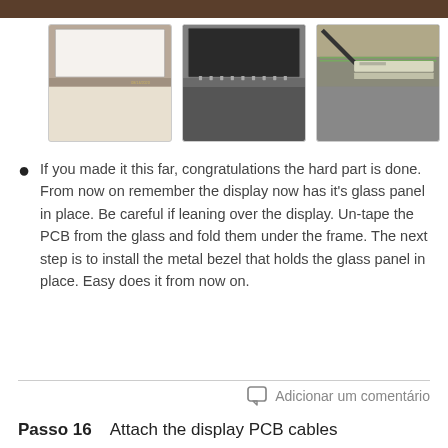[Figure (photo): Top brown decorative bar spanning the full width of the page]
[Figure (photo): Three photos in a row showing: 1) A white laptop display panel, 2) A dark laptop display panel with connectors along the bottom edge, 3) PCB/ribbon cables on a surface]
If you made it this far, congratulations the hard part is done. From now on remember the display now has it's glass panel in place. Be careful if leaning over the display. Un-tape the PCB from the glass and fold them under the frame. The next step is to install the metal bezel that holds the glass panel in place. Easy does it from now on.
Adicionar um comentário
Passo 16    Attach the display PCB cables